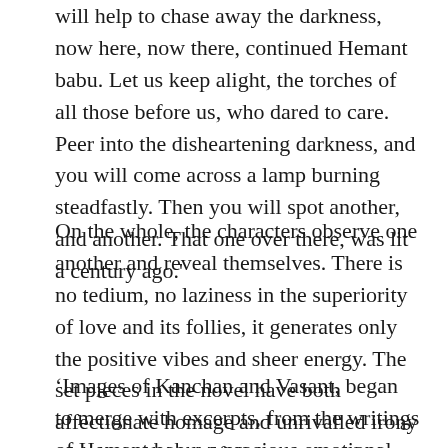will help to chase away the darkness, now here, now there, continued Hemant babu. Let us keep alight, the torches of all those before us, who dared to care. Peer into the disheartening darkness, and you will come across a lamp burning steadfastly. Then you will spot another, and another. That one over there, was lit a century ago.'
On the whole, the characters observe one another and reveal themselves. There is no tedium, no laziness in the superiority of love and its follies, it generates only the positive vibes and sheer energy. The set pieces in the novel have both affectionate homage and unrivalled irony and the author skilfully manages the social relations and the inner lives.
‘Images of Kanchan and Vasant, began to merge with excerpts, from the writings of Hemant babu: a precious emotional bond does not get cleaved by Death. Love is an